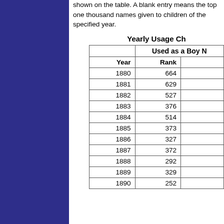shown on the table. A blank entry means the name was not among the top one thousand names given to children of the specified year.
| Year | Rank |  |
| --- | --- | --- |
| 1880 | 664 |  |
| 1881 | 629 |  |
| 1882 | 527 |  |
| 1883 | 376 |  |
| 1884 | 514 |  |
| 1885 | 373 |  |
| 1886 | 327 |  |
| 1887 | 372 |  |
| 1888 | 292 |  |
| 1889 | 329 |  |
| 1890 | 252 |  |